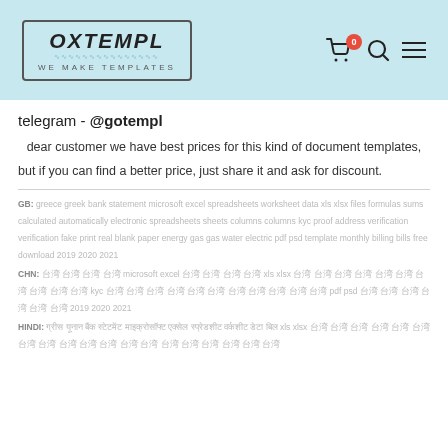OXTEMPL — WE MAKE TEMPLATES (logo); cart icon with badge 0; search icon; menu icon
telegram - @gotempl
dear customer we have best prices for this kind of document templates,
but if you can find a better price, just share it and ask for discount.
GB: greece greek bank statement microsoft excel spreadsheets worksheet data xls xlsx files formulas sums calculated automatically electronic spreadsheets sheets columns columns kyc proof address verification verification fake print real blank paper energy gas gas water electric pdf psd template monthly billing bills free download 2019 2020 2021
CHN: [Chinese characters] microsoft excel [Chinese characters] xls xlsx [Chinese characters] kyc [Chinese characters] pdf psd [Chinese characters] 2019 2020 2021
HINDI: [Hindi characters] xls xlsx [Hindi characters]